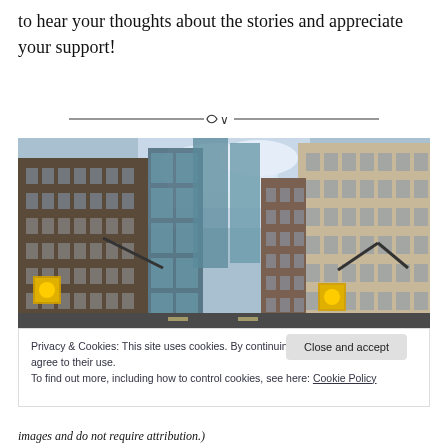to hear your thoughts about the stories and appreciate your support!
[Figure (illustration): Decorative horizontal divider with a small ornamental symbol in the center]
[Figure (photo): Street-level view looking up between tall urban skyscrapers and office buildings with a cloudy sky visible between them; yellow traffic lights visible on the left and right sides of the street]
Privacy & Cookies: This site uses cookies. By continuing to use this website, you agree to their use.
To find out more, including how to control cookies, see here: Cookie Policy
Close and accept
images and do not require attribution.)